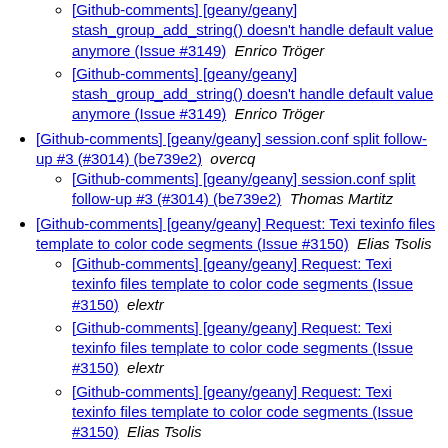[Github-comments] [geany/geany] stash_group_add_string() doesn't handle default value anymore (Issue #3149)  Enrico Tröger
[Github-comments] [geany/geany] stash_group_add_string() doesn't handle default value anymore (Issue #3149)  Enrico Tröger
[Github-comments] [geany/geany] session.conf split follow-up #3 (#3014) (be739e2)  overcq
[Github-comments] [geany/geany] session.conf split follow-up #3 (#3014) (be739e2)  Thomas Martitz
[Github-comments] [geany/geany] Request: Texi texinfo files template to color code segments (Issue #3150)  Elias Tsolis
[Github-comments] [geany/geany] Request: Texi texinfo files template to color code segments (Issue #3150)  elextr
[Github-comments] [geany/geany] Request: Texi texinfo files template to color code segments (Issue #3150)  elextr
[Github-comments] [geany/geany] Request: Texi texinfo files template to color code segments (Issue #3150)  Elias Tsolis
[Github-comments] [geany/geany] Request: Texi texinfo files template to color code segments (Issue #3150)  Elias Tsolis